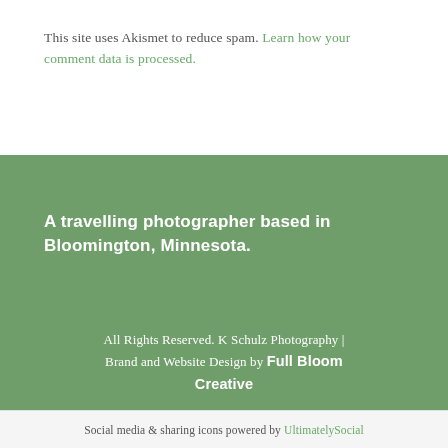This site uses Akismet to reduce spam. Learn how your comment data is processed.
A travelling photographer based in Bloomington, Minnesota.
All Rights Reserved. K Schulz Photography | Brand and Website Design by Full Bloom Creative
Social media & sharing icons powered by UltimatelySocial